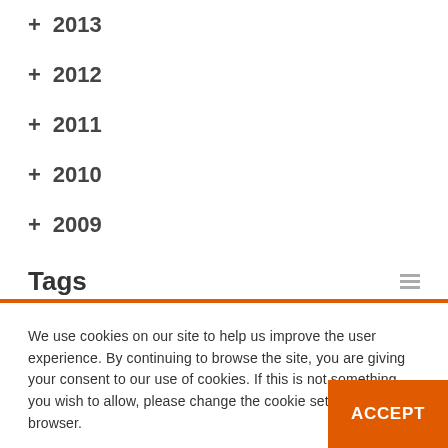+ 2013
+ 2012
+ 2011
+ 2010
+ 2009
Tags
We use cookies on our site to help us improve the user experience. By continuing to browse the site, you are giving your consent to our use of cookies. If this is not something you wish to allow, please change the cookie settings in your browser.
More information is available in our Privacy and Cookie Policy.